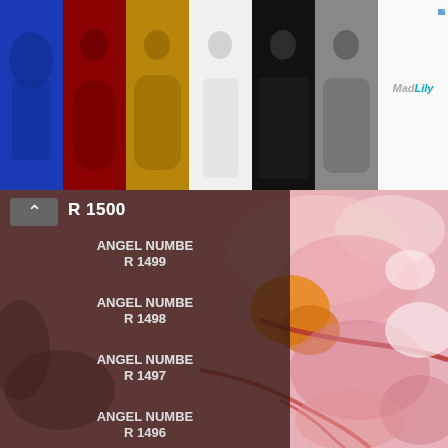[Figure (screenshot): Online clothing advertisement banner showing 6 fashion items: blue swimsuit, red dress, gold patterned dress (-30% badge), white dress, black top (-51% badge), grey patterned blouse. MadLily logo with close button on right.]
[Figure (illustration): Watercolor painting with pink, red, orange abstract fluid shapes forming organic patterns on right side of page]
R 1500
ANGEL NUMBER 1499
ANGEL NUMBER 1498
ANGEL NUMBER 1497
ANGEL NUMBER 1496
ANGEL NUMBER 1495
ANGEL NUMBER 1494